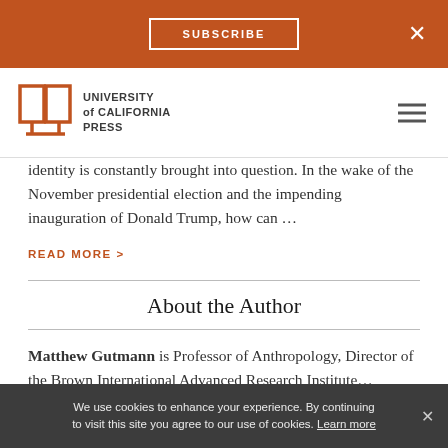SUBSCRIBE ×
[Figure (logo): University of California Press logo with stylized open book icon and text UNIVERSITY of CALIFORNIA PRESS]
identity is constantly brought into question. In the wake of the November presidential election and the impending inauguration of Donald Trump, how can …
READ MORE >
About the Author
Matthew Gutmann is Professor of Anthropology, Director of the Brown International Advanced Research Institute…
We use cookies to enhance your experience. By continuing to visit this site you agree to our use of cookies. Learn more ×